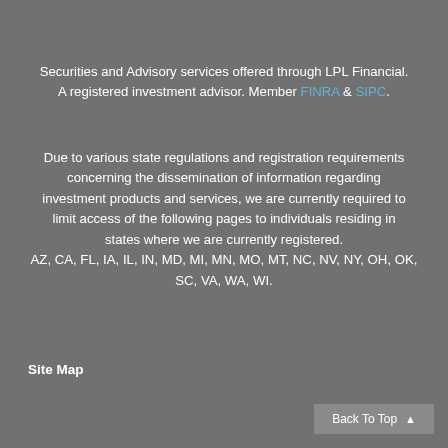Securities and Advisory services offered through LPL Financial. A registered investment advisor. Member FINRA & SIPC.
Due to various state regulations and registration requirements concerning the dissemination of information regarding investment products and services, we are currently required to limit access of the following pages to individuals residing in states where we are currently registered. AZ, CA, FL, IA, IL, IN, MD, MI, MN, MO, MT, NC, NV, NY, OH, OK, SC, VA, WA, WI.
Site Map
Back To Top